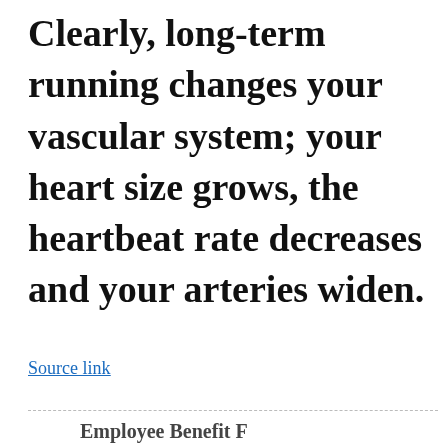Clearly, long-term running changes your vascular system; your heart size grows, the heartbeat rate decreases and your arteries widen.
Source link
Employee Benefit F…